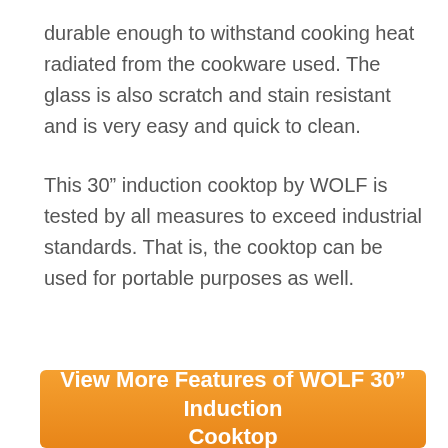durable enough to withstand cooking heat radiated from the cookware used. The glass is also scratch and stain resistant and is very easy and quick to clean.

This 30" induction cooktop by WOLF is tested by all measures to exceed industrial standards. That is, the cooktop can be used for portable purposes as well.
View More Features of WOLF 30" Induction Cooktop